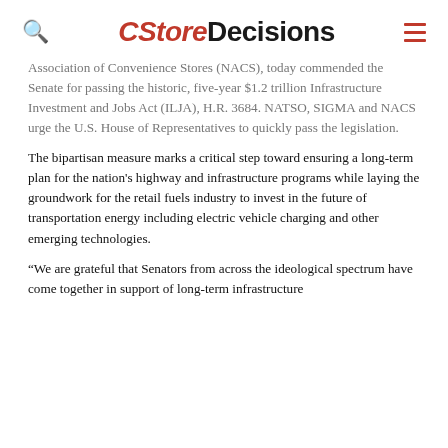CStoreDecisions
Association of Convenience Stores (NACS), today commended the Senate for passing the historic, five-year $1.2 trillion Infrastructure Investment and Jobs Act (ILJA), H.R. 3684. NATSO, SIGMA and NACS urge the U.S. House of Representatives to quickly pass the legislation.
The bipartisan measure marks a critical step toward ensuring a long-term plan for the nation's highway and infrastructure programs while laying the groundwork for the retail fuels industry to invest in the future of transportation energy including electric vehicle charging and other emerging technologies.
“We are grateful that Senators from across the ideological spectrum have come together in support of long-term infrastructure